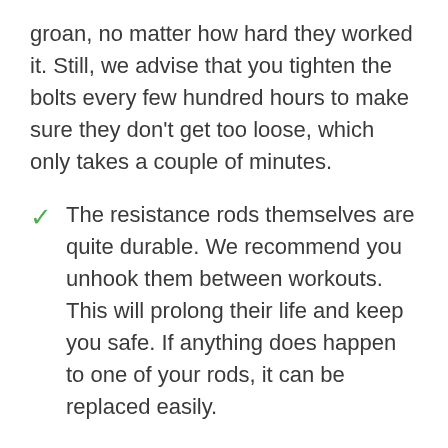groan, no matter how hard they worked it. Still, we advise that you tighten the bolts every few hundred hours to make sure they don’t get too loose, which only takes a couple of minutes.
The resistance rods themselves are quite durable. We recommend you unhook them between workouts. This will prolong their life and keep you safe. If anything does happen to one of your rods, it can be replaced easily.
If you are a serious lifter, you may feel that the 210 lb of resistance that the rods give you isn’t enough fo some